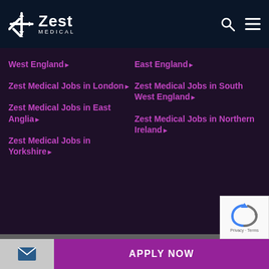Zest Medical
West England ▶
East England ▶
Zest Medical Jobs in London ▶
Zest Medical Jobs in South West England ▶
Zest Medical Jobs in East Anglia ▶
Zest Medical Jobs in Northern Ireland ▶
Zest Medical Jobs in Yorkshire ▶
© 2022 Zest Business Group Ltd, all rights reserved
GDPR and Privacy Policy
Terms of Use
Cookies Policy
Sitemap
Website By
APPLY NOW